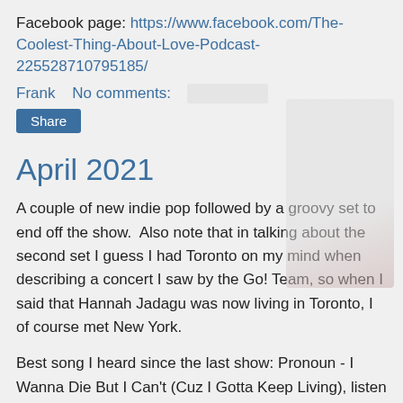Facebook page: https://www.facebook.com/The-Coolest-Thing-About-Love-Podcast-225528710795185/
Frank   No comments:
Share
April 2021
A couple of new indie pop followed by a groovy set to end off the show.  Also note that in talking about the second set I guess I had Toronto on my mind when describing a concert I saw by the Go! Team, so when I said that Hannah Jadagu was now living in Toronto, I of course met New York.
Best song I heard since the last show: Pronoun - I Wanna Die But I Can't (Cuz I Gotta Keep Living), listen to the song here: Pronoun - I Wanna Die But I Can't - YouTube
Links from the show:
Find out more about the band Shelly: